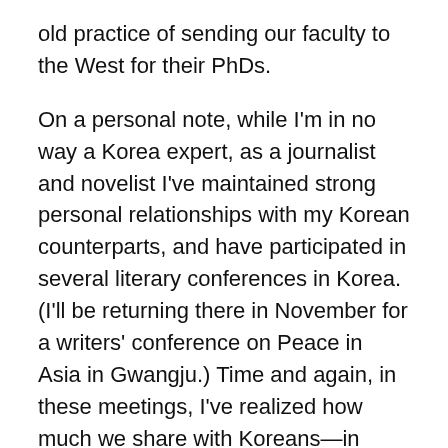old practice of sending our faculty to the West for their PhDs.
On a personal note, while I'm in no way a Korea expert, as a journalist and novelist I've maintained strong personal relationships with my Korean counterparts, and have participated in several literary conferences in Korea. (I'll be returning there in November for a writers' conference on Peace in Asia in Gwangju.) Time and again, in these meetings, I've realized how much we share with Koreans—in terms, for example, of our experience with martial law and our emergence from it. So what happened since, and what accounts for the palpable difference in our two economies? That's what we need to learn from them.
Of course, we also have much to share with Korea. One of my best graduate students, Sandra Nicole Roldan, had